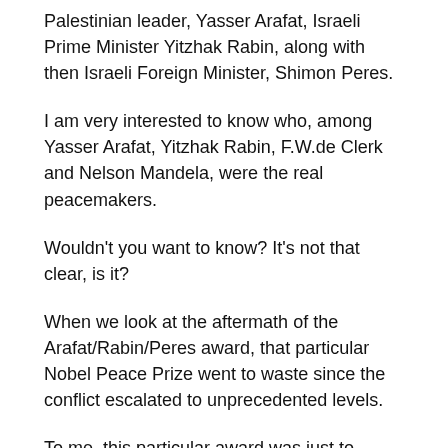Palestinian leader, Yasser Arafat, Israeli Prime Minister Yitzhak Rabin, along with then Israeli Foreign Minister, Shimon Peres.
I am very interested to know who, among Yasser Arafat, Yitzhak Rabin, F.W.de Clerk and Nelson Mandela, were the real peacemakers.
Wouldn't you want to know? It's not that clear, is it?
When we look at the aftermath of the Arafat/Rabin/Peres award, that particular Nobel Peace Prize went to waste since the conflict escalated to unprecedented levels.
To me, this particular award was just to hoodwink the world into thinking that peace could be achieved without